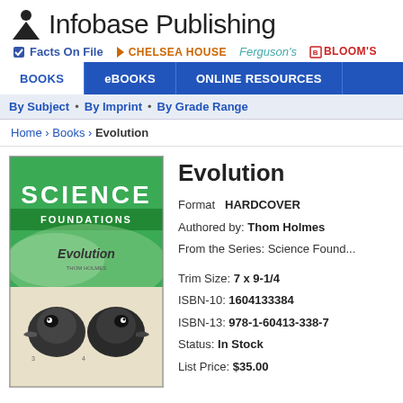[Figure (logo): Infobase Publishing logo with person icon and text]
[Figure (logo): Imprints bar: Facts On File, Chelsea House, Ferguson's, Bloom's]
[Figure (screenshot): Navigation bar with BOOKS, eBOOKS, ONLINE RESOURCES tabs]
By Subject • By Imprint • By Grade Range
Home › Books › Evolution
[Figure (photo): Book cover: Science Foundations - Evolution by Thom Holmes, green cover with bird head illustrations]
Evolution
Format   HARDCOVER
Authored by: Thom Holmes
From the Series: Science Found...
Trim Size: 7 x 9-1/4
ISBN-10: 1604133384
ISBN-13: 978-1-60413-338-7
Status: In Stock
List Price: $35.00